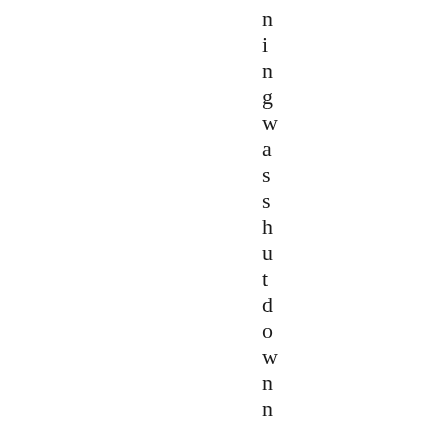n i n g w a s s h u t d o w n n